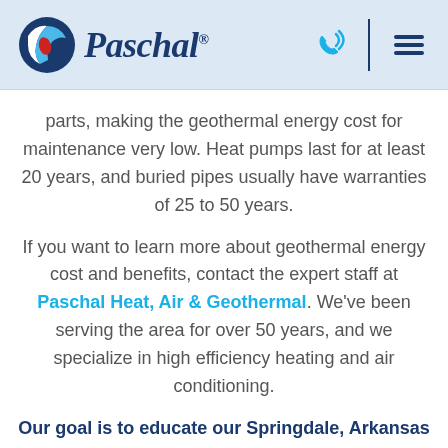[Figure (logo): Paschal logo with circular icon and stylized italic text 'Paschal' with registered trademark symbol, plus phone and menu icons in header]
parts, making the geothermal energy cost for maintenance very low. Heat pumps last for at least 20 years, and buried pipes usually have warranties of 25 to 50 years.
If you want to learn more about geothermal energy cost and benefits, contact the expert staff at Paschal Heat, Air & Geothermal. We've been serving the area for over 50 years, and we specialize in high efficiency heating and air conditioning.
Our goal is to educate our Springdale, Arkansas customers about cost, energy, and home comfort